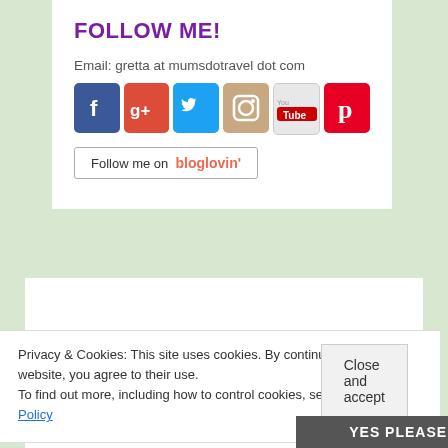FOLLOW ME!
Email: gretta at mumsdotravel dot com
[Figure (infographic): Social media icons: Facebook, Google+, Twitter, Instagram, YouTube, Pinterest]
[Figure (infographic): Follow me on bloglovin' button]
Privacy & Cookies: This site uses cookies. By continuing to use this website, you agree to their use. To find out more, including how to control cookies, see here: Cookie Policy
Close and accept
YES PLEASE!